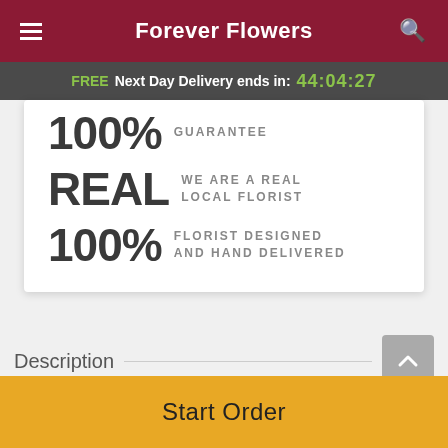Forever Flowers
FREE Next Day Delivery ends in: 44:04:27
100% GUARANTEE
REAL WE ARE A REAL LOCAL FLORIST
100% FLORIST DESIGNED AND HAND DELIVERED
Description
Treat someone special to an Italian feast! Packaged in a fun plastic colander, these savory delights will have them...
Start Order